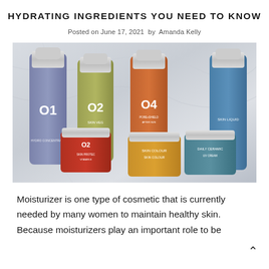HYDRATING INGREDIENTS YOU NEED TO KNOW
Posted on June 17, 2021 by Amanda Kelly
[Figure (photo): Flatlay photo of multiple skincare product bottles and jars arranged on a white marble surface. Products include labeled O1, O2, O4 numbered bottles in blue/purple, olive/yellow-green, orange colors, and small jars in red, yellow/gold, and teal/blue. Silver pump tops visible on taller bottles.]
Moisturizer is one type of cosmetic that is currently needed by many women to maintain healthy skin. Because moisturizers play an important role to be